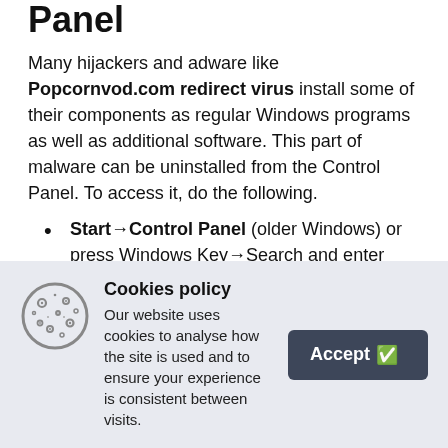Panel
Many hijackers and adware like Popcornvod.com redirect virus install some of their components as regular Windows programs as well as additional software. This part of malware can be uninstalled from the Control Panel. To access it, do the following.
Start→Control Panel (older Windows) or press Windows Key→Search and enter Control Panel and then press Enter (Windows 8, Windows 10).
Cookies policy
Our website uses cookies to analyse how the site is used and to ensure your experience is consistent between visits.